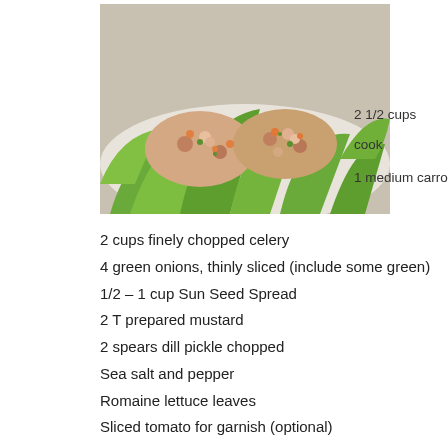[Figure (photo): Photo of chicken or tuna salad served on romaine lettuce leaves on a white plate]
2 1/2 cups cook
1 medium carro
2 cups finely chopped celery
4 green onions, thinly sliced (include some green)
1/2 – 1 cup Sun Seed Spread
2 T prepared mustard
2 spears dill pickle chopped
Sea salt and pepper
Romaine lettuce leaves
Sliced tomato for garnish (optional)